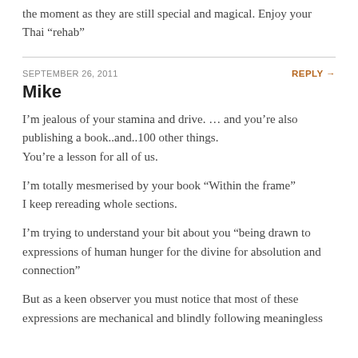the moment as they are still special and magical. Enjoy your Thai “rehab”
SEPTEMBER 26, 2011
REPLY
Mike
I’m jealous of your stamina and drive. … and you’re also publishing a book..and..100 other things.
You’re a lesson for all of us.
I’m totally mesmerised by your book “Within the frame”
I keep rereading whole sections.
I’m trying to understand your bit about you “being drawn to expressions of human hunger for the divine for absolution and connection”
But as a keen observer you must notice that most of these expressions are mechanical and blindly following meaningless